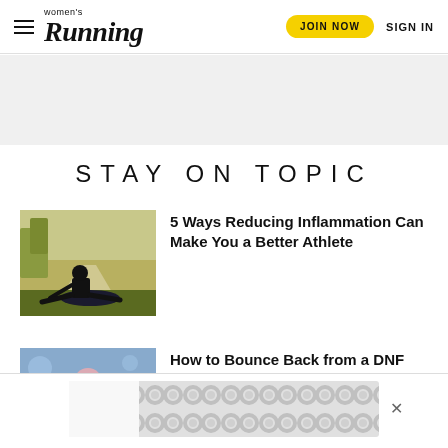women's Running | JOIN NOW | SIGN IN
STAY ON TOPIC
[Figure (photo): Woman in black athletic wear and hijab stretching on a path in a park]
5 Ways Reducing Inflammation Can Make You a Better Athlete
[Figure (photo): Runner in colorful gear, partially visible]
How to Bounce Back from a DNF
[Figure (other): Advertisement banner with repeating circular pattern]